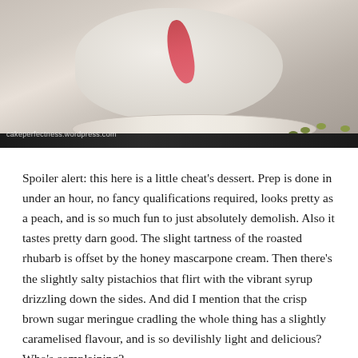[Figure (photo): Close-up photo of a meringue dessert drizzled with red berry syrup, served on a decorative floral plate, with pistachios scattered around, on a dark background. Watermark reads: cakeperfectness.wordpress.com]
Spoiler alert: this here is a little cheat's dessert. Prep is done in under an hour, no fancy qualifications required, looks pretty as a peach, and is so much fun to just absolutely demolish. Also it tastes pretty darn good. The slight tartness of the roasted rhubarb is offset by the honey mascarpone cream. Then there's the slightly salty pistachios that flirt with the vibrant syrup drizzling down the sides. And did I mention that the crisp brown sugar meringue cradling the whole thing has a slightly caramelised flavour, and is so devilishly light and delicious?  Who's complaining?
Also, happy Mother's Day! My marvellous Ma is currently